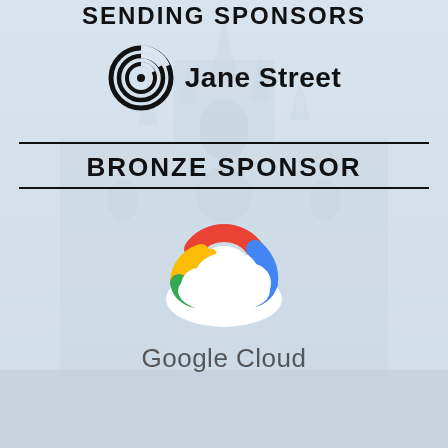[Figure (logo): Jane Street logo — concentric circle/spiral icon followed by text 'Jane Street' in bold black]
BRONZE SPONSOR
[Figure (logo): Google Cloud logo — colorful cloud icon with Google Cloud text below in grey]